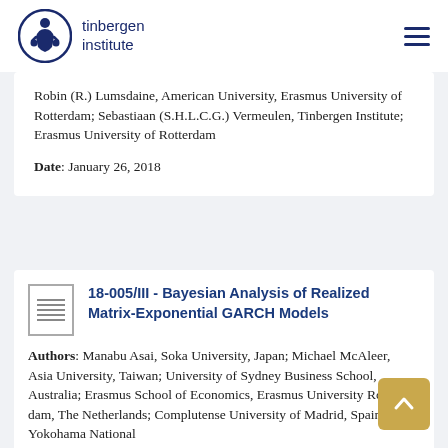tinbergen institute
Robin (R.) Lumsdaine, American University, Erasmus University of Rotterdam; Sebastiaan (S.H.L.C.G.) Vermeulen, Tinbergen Institute; Erasmus University of Rotterdam
Date: January 26, 2018
18-005/III - Bayesian Analysis of Realized Matrix-Exponential GARCH Models
Authors: Manabu Asai, Soka University, Japan; Michael McAleer, Asia University, Taiwan; University of Sydney Business School, Australia; Erasmus School of Economics, Erasmus University Rotterdam, The Netherlands; Complutense University of Madrid, Spain; Yokohama National